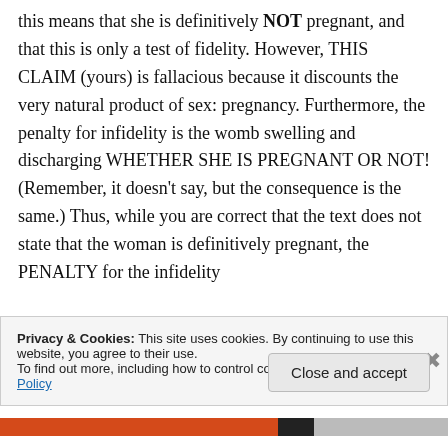this means that she is definitively NOT pregnant, and that this is only a test of fidelity. However, THIS CLAIM (yours) is fallacious because it discounts the very natural product of sex: pregnancy. Furthermore, the penalty for infidelity is the womb swelling and discharging WHETHER SHE IS PREGNANT OR NOT! (Remember, it doesn't say, but the consequence is the same.) Thus, while you are correct that the text does not state that the woman is definitively pregnant, the PENALTY for the infidelity
Privacy & Cookies: This site uses cookies. By continuing to use this website, you agree to their use.
To find out more, including how to control cookies, see here: Cookie Policy